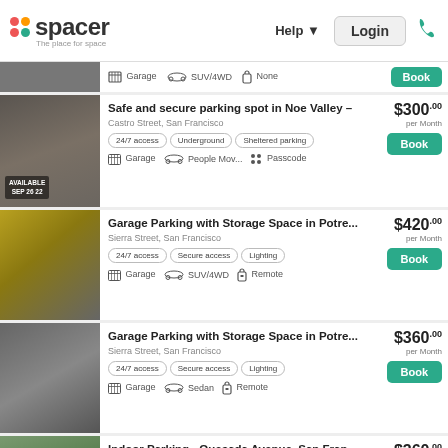[Figure (logo): Spacer logo with colored dots and tagline 'The place for space']
Help ▼
Login
Garage  SUV/4WD  None  Book
Safe and secure parking spot in Noe Valley –
Castro Street, San Francisco
24/7 access  Underground  Sheltered parking
$300.00 per Month
Garage  People Mov...  Passcode
Garage Parking with Storage Space in Potre...
Sierra Street, San Francisco
24/7 access  Secure access  Lighting
$420.00 per Month
Garage  SUV/4WD  Remote
Garage Parking with Storage Space in Potre...
Sierra Street, San Francisco
24/7 access  Secure access  Lighting
$360.00 per Month
Garage  Sedan  Remote
Indoor Parking - Quesada Avenue, San Fran...
1100 Quesada Avenue, San Francisco, California 94124, U...
$360.00 per Month
Garage  SUV/4WD  None
Motorcycle Parking